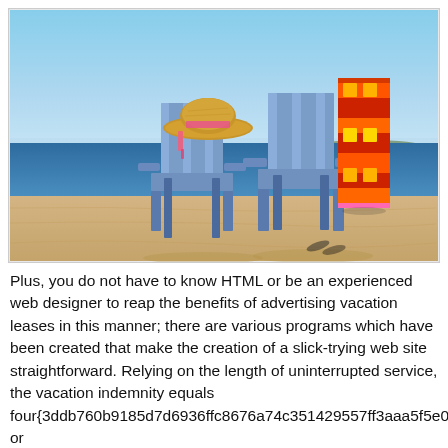[Figure (photo): Two blue Adirondack chairs on a sandy beach facing the ocean. A straw sun hat rests on the left chair, and a colorful red-orange-yellow patterned towel is draped over the right chair. Blue sky and calm blue water in the background.]
Plus, you do not have to know HTML or be an experienced web designer to reap the benefits of advertising vacation leases in this manner; there are various programs which have been created that make the creation of a slick-trying web site straightforward. Relying on the length of uninterrupted service, the vacation indemnity equals four{3ddb760b9185d7d6936ffc8676a74c351429557ff3aaa5f5e0108128541b37c7} or